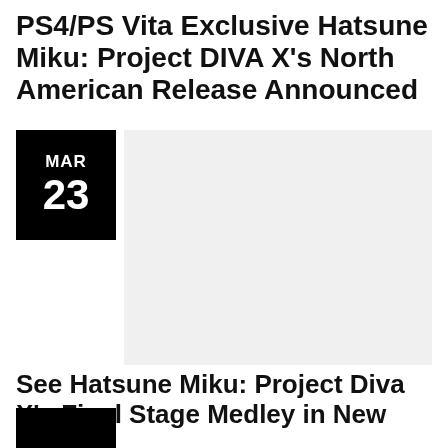PS4/PS Vita Exclusive Hatsune Miku: Project DIVA X's North American Release Announced
[Figure (other): Date badge showing MAR 23 in black box, next to a light gray image placeholder rectangle]
See Hatsune Miku: Project Diva X's Final Stage Medley in New Trailer